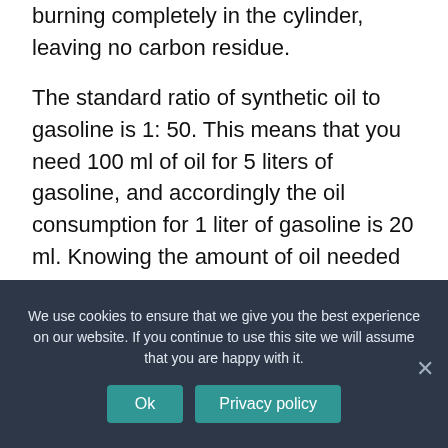burning completely in the cylinder, leaving no carbon residue.

The standard ratio of synthetic oil to gasoline is 1: 50. This means that you need 100 ml of oil for 5 liters of gasoline, and accordingly the oil consumption for 1 liter of gasoline is 20 ml. Knowing the amount of oil needed to dilute 1 liter of fuel, you can easily calculate any rates in the preparation of fuel for the grass trimmer. If mineral oils are used, the standard ratio is often 1:40. This means it requires 25 ml for 1
We use cookies to ensure that we give you the best experience on our website. If you continue to use this site we will assume that you are happy with it.